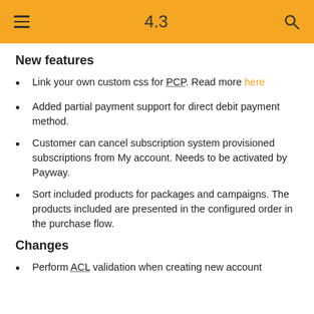4.3
New features
Link your own custom css for PCP. Read more here
Added partial payment support for direct debit payment method.
Customer can cancel subscription system provisioned subscriptions from My account. Needs to be activated by Payway.
Sort included products for packages and campaigns. The products included are presented in the configured order in the purchase flow.
Changes
Perform ACL validation when creating new account